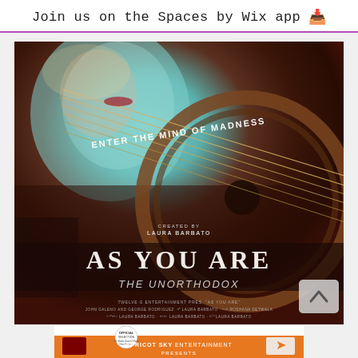Join us on the Spaces by Wix app
[Figure (photo): Movie poster for 'AS YOU ARE - The Unorthodox' created by Laura Barbato. Shows a woman's face partially obscured by guitar strings against a teal/dark red background. Tagline reads 'ENTER THE MIND OF MADNESS'. Credits include Twelve G Entertainment, John Galeno, George Rodriguez, Laura Barbato, Roshana Detwala.]
[Figure (photo): Partial movie poster for a film presented by Apricot Sky Entertainment. Shows official selection laurels and a person's head at the bottom. Orange and white color scheme.]